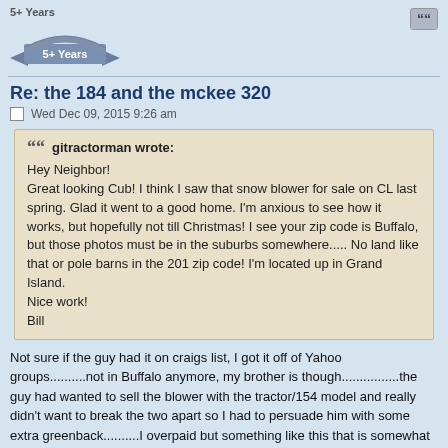[Figure (logo): 5+ Years badge with ribbon banner graphic]
Re: the 184 and the mckee 320
Wed Dec 09, 2015 9:26 am
gitractorman wrote:
Hey Neighbor!
Great looking Cub! I think I saw that snow blower for sale on CL last spring. Glad it went to a good home. I'm anxious to see how it works, but hopefully not till Christmas! I see your zip code is Buffalo, but those photos must be in the suburbs somewhere..... No land like that or pole barns in the 201 zip code! I'm located up in Grand Island.
Nice work!
Bill
Not sure if the guy had it on craigs list, I got it off of Yahoo groups..........not in Buffalo anymore, my brother is though................the guy had wanted to sell the blower with the tractor/154 model and really didn't want to break the two apart so I had to persuade him with some extra greenback..........I overpaid but something like this that is somewhat rare and this one was all there with no missing pieces and no bad bearings made it the find I was looking for.......I had only seen 2-3 for sale in the last 3 years and everytime I went to contact the seller I was a day late and a few short.